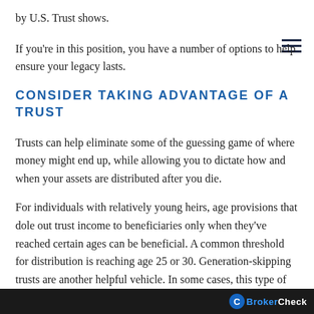by U.S. Trust shows.
If you're in this position, you have a number of options to help ensure your legacy lasts.
CONSIDER TAKING ADVANTAGE OF A TRUST
Trusts can help eliminate some of the guessing game of where money might end up, while allowing you to dictate how and when your assets are distributed after you die.
For individuals with relatively young heirs, age provisions that dole out trust income to beneficiaries only when they've reached certain ages can be beneficial. A common threshold for distribution is reaching age 25 or 30. Generation-skipping trusts are another helpful vehicle. In some cases, this type of trust can all
BrokerCheck